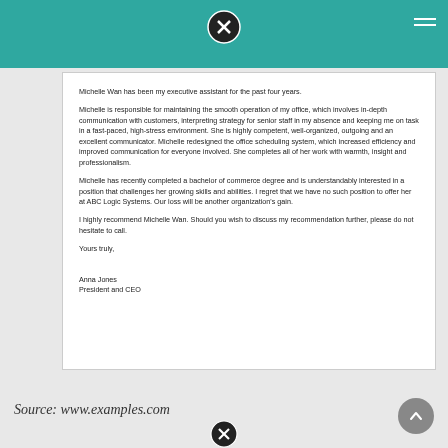Michelle Wan has been my executive assistant for the past four years.
Michelle is responsible for maintaining the smooth operation of my office, which involves in-depth communication with customers, interpreting strategy for senior staff in my absence and keeping me on task in a fast-paced, high-stress environment. She is highly competent, well-organized, outgoing and an excellent communicator. Michelle redesigned the office scheduling system, which increased efficiency and improved communication for everyone involved. She completes all of her work with warmth, insight and professionalism.
Michelle has recently completed a bachelor of commerce degree and is understandably interested in a position that challenges her growing skills and abilities. I regret that we have no such position to offer her at ABC Logic Systems. Our loss will be another organization's gain.
I highly recommend Michelle Wan. Should you wish to discuss my recommendation further, please do not hesitate to call.
Yours truly,
Anna Jones
President and CEO
Source: www.examples.com